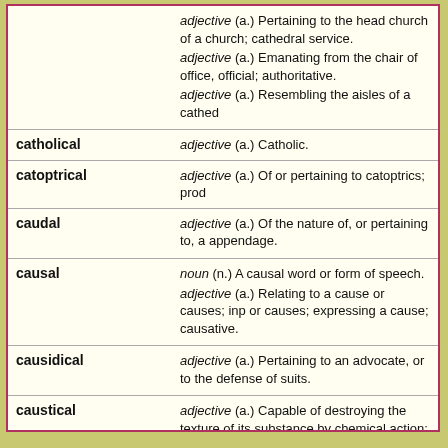| Term | Definition |
| --- | --- |
|  | adjective (a.) Pertaining to the head church of a church; cathedral service. / adjective (a.) Emanating from the chair of office, official; authoritative. / adjective (a.) Resembling the aisles of a cathedral |
| catholical | adjective (a.) Catholic. |
| catoptrical | adjective (a.) Of or pertaining to catoptrics; prod... |
| caudal | adjective (a.) Of the nature of, or pertaining to, a appendage. |
| causal | noun (n.) A causal word or form of speech. / adjective (a.) Relating to a cause or causes; inplying or causes; expressing a cause; causative. |
| causidical | adjective (a.) Pertaining to an advocate, or to the defense of suits. |
| caustical | adjective (a.) Capable of destroying the texture of its substance by chemical action; burning; corros... / adjective (a.) Severe; satirical; sharp; as, a caus... |
| caporal | noun (n.) One who directs work; an overseer. |